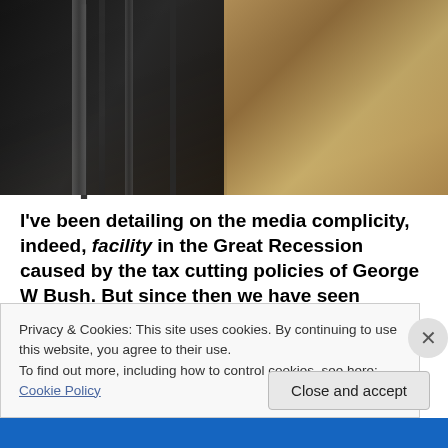[Figure (photo): Dark industrial photograph showing conveyor belts or rails on the left side against a dark background, and what appears to be flowing water or mineral material on the right side, with a vertical dividing line in the middle.]
I've been detailing on the media complicity, indeed, facility in the Great Recession caused by the tax cutting policies of George W Bush. But since then we have seen Fukushima, the BP oil spill, and Sandy. Could Fukushima have been prevented? Yes. For I can personally tell you, as an anti-nuke activist in the
Privacy & Cookies: This site uses cookies. By continuing to use this website, you agree to their use.
To find out more, including how to control cookies, see here: Cookie Policy
Close and accept